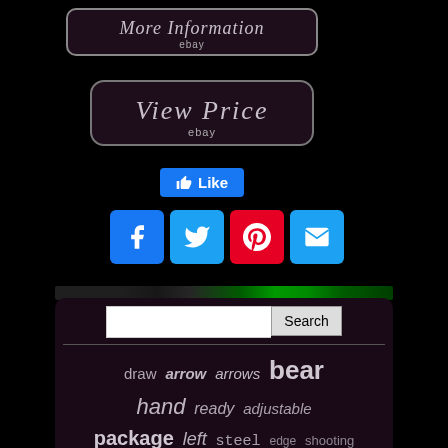[Figure (screenshot): More Information button with ebay label, dark purple rounded rectangle with gray italic text]
[Figure (screenshot): View Price button with ebay label, dark purple rounded rectangle with gray italic text]
[Figure (screenshot): Facebook Like button in blue]
[Figure (screenshot): Social sharing icons: Facebook, Twitter, Pinterest, Email]
[Figure (screenshot): Search bar with text input and Search button]
draw arrow arrows bear hand ready adjustable package left steel edge shooting hoyt compound bowtech